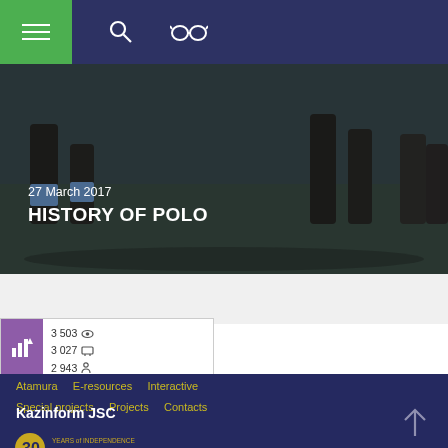Navigation header with hamburger menu, search and accessibility icons
[Figure (photo): Hero image showing horse legs on a polo field, dark overlay with date and title text]
27 March 2017
HISTORY OF POLO
[Figure (infographic): Stats widget showing: 3 503 views, 3 027 shares, 2 943 visitors with purple bar chart icon]
Atamura   E-resources   Interactive   Special projects   Projects   Contacts
Kazinform JSC
[Figure (logo): 30 Years of Independence of Kazakhstan logo]